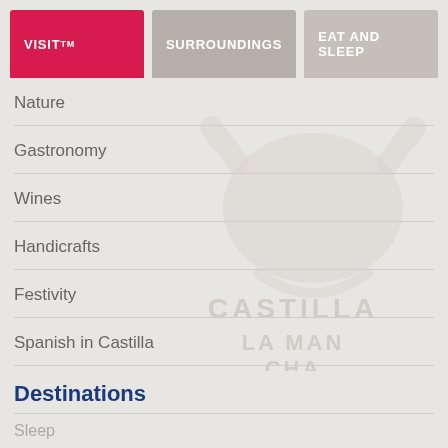VISIT | SURROUNDINGS | EAT AND SLEEP
Nature
Gastronomy
Wines
Handicrafts
Festivity
Spanish in Castilla
illustrious
CLM 360°
[Figure (logo): Castilla La Mancha watermark logo in light grey showing a stylized bull/manchego symbol with text CASTILLA LAMANCHA]
Destinations
Sleep